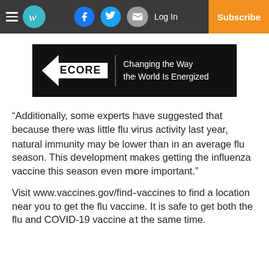W | Log In | Subscribe
[Figure (logo): ECORE logo with tagline: Changing the Way the World Is Energized, on black background]
“Additionally, some experts have suggested that because there was little flu virus activity last year, natural immunity may be lower than in an average flu season. This development makes getting the influenza vaccine this season even more important.”
Visit www.vaccines.gov/find-vaccines to find a location near you to get the flu vaccine. It is safe to get both the flu and COVID-19 vaccine at the same time.